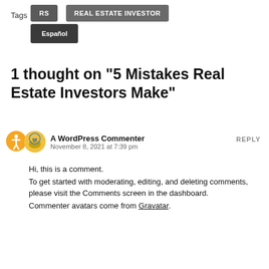Tags  Español  RS  REAL ESTATE INVESTOR
1 thought on “5 Mistakes Real Estate Investors Make”
A WordPress Commenter
November 8, 2021 at 7:39 pm
REPLY
Hi, this is a comment.
To get started with moderating, editing, and deleting comments, please visit the Comments screen in the dashboard.
Commenter avatars come from Gravatar.